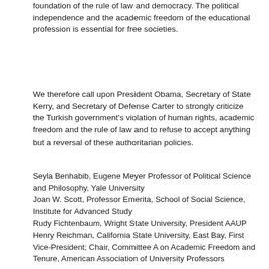foundation of the rule of law and democracy. The political independence and the academic freedom of the educational profession is essential for free societies.
We therefore call upon President Obama, Secretary of State Kerry, and Secretary of Defense Carter to strongly criticize the Turkish government's violation of human rights, academic freedom and the rule of law and to refuse to accept anything but a reversal of these authoritarian policies.
Seyla Benhabib, Eugene Meyer Professor of Political Science and Philosophy, Yale University
Joan W. Scott, Professor Emerita, School of Social Science, Institute for Advanced Study
Rudy Fichtenbaum, Wright State University, President AAUP
Henry Reichman, California State University, East Bay, First Vice-President; Chair, Committee A on Academic Freedom and Tenure, American Association of University Professors